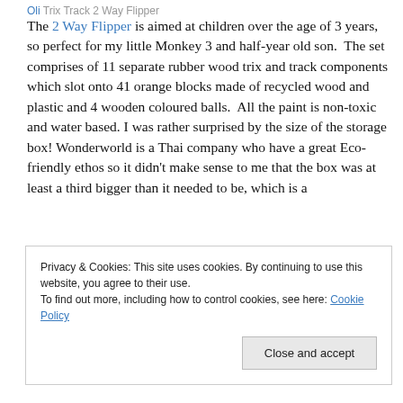Oli Trix Track 2 Way Flipper
The 2 Way Flipper is aimed at children over the age of 3 years, so perfect for my little Monkey 3 and half-year old son.  The set comprises of 11 separate rubber wood trix and track components which slot onto 41 orange blocks made of recycled wood and plastic and 4 wooden coloured balls.  All the paint is non-toxic and water based.  I was rather surprised by the size of the storage box! Wonderworld is a Thai company who have a great Eco-friendly ethos so it didn't make sense to me that the box was at least a third bigger than it needed to be, which is a
Privacy & Cookies: This site uses cookies. By continuing to use this website, you agree to their use.
To find out more, including how to control cookies, see here: Cookie Policy